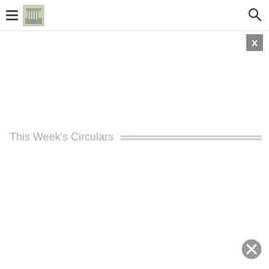Navigation header with hamburger menu, logo, and search icon
[Figure (screenshot): Close/X button — small grey square with white X letter, top right area below header]
This Week's Circulars
[Figure (other): Close/dismiss circle button — grey circle with X, bottom right corner]